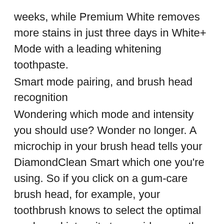weeks, while Premium White removes more stains in just three days in White+ Mode with a leading whitening toothpaste.
Smart mode pairing, and brush head recognition
Wondering which mode and intensity you should use? Wonder no longer. A microchip in your brush head tells your DiamondClean Smart which one you're using. So if you click on a gum-care brush head, for example, your toothbrush knows to select the optimal mode and intensity to provide a gentle yet effective care for your gums. All you need to do is to press the power button.
Healthy habits are a breeze with real-time feedback
Our smart sensors take the guesswork out of brushing. The location sensor shows you where you've brushed, and more importantly, where you've missed. If you